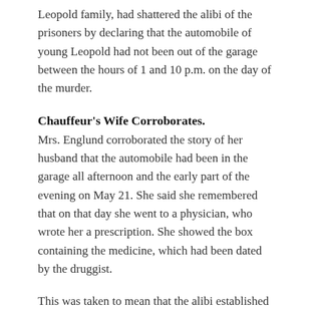Leopold family, had shattered the alibi of the prisoners by declaring that the automobile of young Leopold had not been out of the garage between the hours of 1 and 10 p.m. on the day of the murder.
Chauffeur's Wife Corroborates.
Mrs. Englund corroborated the story of her husband that the automobile had been in the garage all afternoon and the early part of the evening on May 21. She said she remembered that on that day she went to a physician, who wrote her a prescription. She showed the box containing the medicine, which had been dated by the druggist.
This was taken to mean that the alibi established by the two youths suffered seriously. Both had firmly repeated the same story of their whereabouts on the